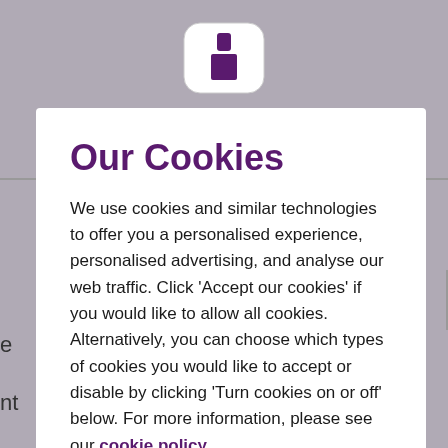[Figure (logo): App icon with a purple figure/person symbol on white rounded rectangle background]
Our Cookies
We use cookies and similar technologies to offer you a personalised experience, personalised advertising, and analyse our web traffic. Click 'Accept our cookies' if you would like to allow all cookies. Alternatively, you can choose which types of cookies you would like to accept or disable by clicking 'Turn cookies on or off' below. For more information, please see our cookie policy.
Accept our cookies
Turn cookies on or off